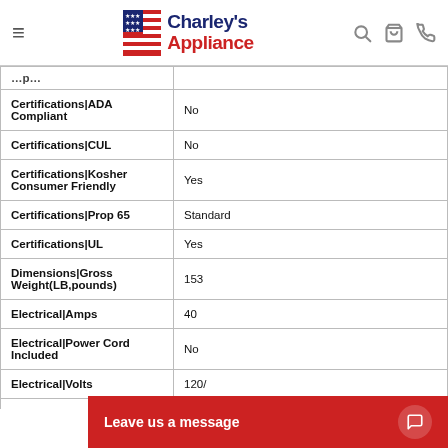Charley's Appliance
| Attribute | Value |
| --- | --- |
| Certifications|ADA Compliant | No |
| Certifications|CUL | No |
| Certifications|Kosher Consumer Friendly | Yes |
| Certifications|Prop 65 | Standard |
| Certifications|UL | Yes |
| Dimensions|Gross Weight(LB,pounds) | 153 |
| Electrical|Amps | 40 |
| Electrical|Power Cord Included | No |
| Electrical|Volts | 120/... |
| (partial row) |  |